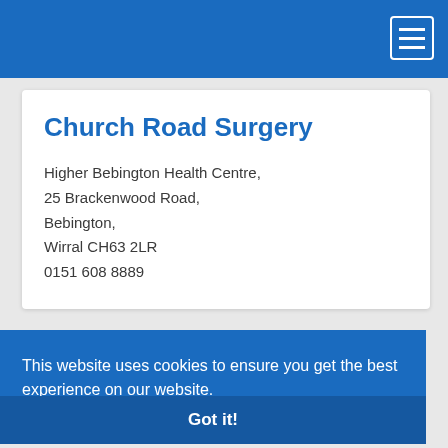Church Road Surgery
Higher Bebington Health Centre,
25 Brackenwood Road,
Bebington,
Wirral CH63 2LR
0151 608 8889
This website uses cookies to ensure you get the best experience on our website.
Learn more
Got it!
Bebington,